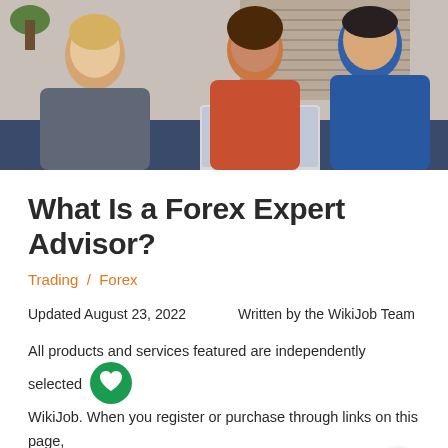[Figure (photo): Three people in a meeting setting — a blonde woman in business attire gesturing while speaking, a woman with curly hair in an orange top, and a man in a blue shirt, both looking at a laptop.]
What Is a Forex Expert Advisor?
Trading / Forex
Updated August 23, 2022       Written by the WikiJob Team
All products and services featured are independently selected by WikiJob. When you register or purchase through links on this page, we may earn a commission.